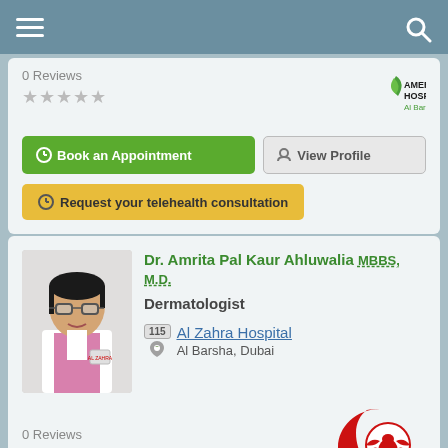Navigation bar with hamburger menu and search icon
0 Reviews
[Figure (logo): American Hospital Al Barsha Clinic logo with green crescent/leaf icon and text AMERICAN HOSPITAL Al Barsha Clinic]
Book an Appointment
View Profile
Request your telehealth consultation
[Figure (photo): Photo of Dr. Amrita Pal Kaur Ahluwalia, a woman wearing glasses and white coat]
Dr. Amrita Pal Kaur Ahluwalia MBBS, M.D.
Dermatologist
115 Al Zahra Hospital
Al Barsha, Dubai
0 Reviews
[Figure (logo): Al Zahra Hospital red crescent logo with emblem]